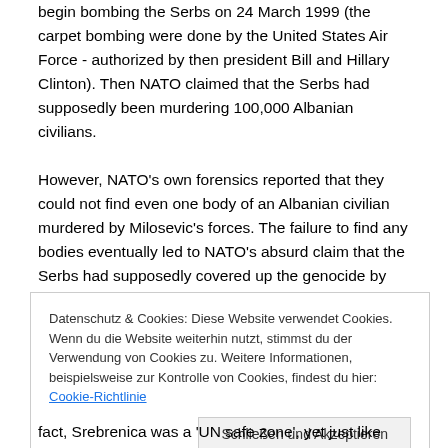begin bombing the Serbs on 24 March 1999 (the carpet bombing were done by the United States Air Force - authorized by then president Bill and Hillary Clinton). Then NATO claimed that the Serbs had supposedly been murdering 100,000 Albanian civilians.
However, NATO's own forensics reported that they could not find even one body of an Albanian civilian murdered by Milosevic's forces. The failure to find any bodies eventually led to NATO's absurd claim that the Serbs had supposedly covered up the genocide by moving the many thousands of bodies in freezer trucks deep into Serbia (while Bill
Datenschutz & Cookies: Diese Website verwendet Cookies. Wenn du die Website weiterhin nutzt, stimmst du der Verwendung von Cookies zu. Weitere Informationen, beispielsweise zur Kontrolle von Cookies, findest du hier: Cookie-Richtlinie
Schließen und Akzeptieren
fact, Srebrenica was a 'UN safe zone', yet just like